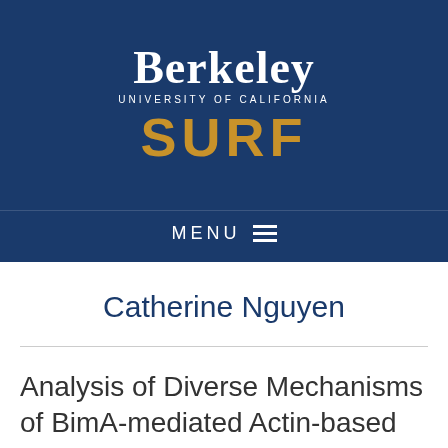[Figure (logo): UC Berkeley SURF logo — white serif 'Berkeley', 'UNIVERSITY OF CALIFORNIA' in small caps, and 'SURF' in large gold bold letters, all on a dark navy blue background]
MENU ≡
Catherine Nguyen
Analysis of Diverse Mechanisms of BimA-mediated Actin-based Motility in Burkholderia